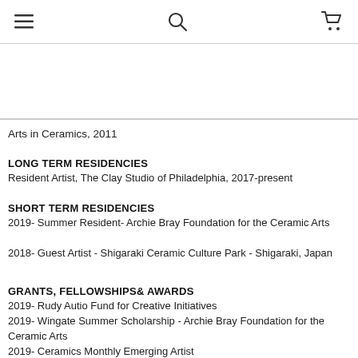[hamburger menu] [search] [cart]
Arts in Ceramics, 2011
LONG TERM RESIDENCIES
Resident Artist, The Clay Studio of Philadelphia, 2017-present
SHORT TERM RESIDENCIES
2019- Summer Resident- Archie Bray Foundation for the Ceramic Arts
2018- Guest Artist - Shigaraki Ceramic Culture Park - Shigaraki, Japan
GRANTS, FELLOWSHIPS& AWARDS
2019- Rudy Autio Fund for Creative Initiatives
2019- Wingate Summer Scholarship - Archie Bray Foundation for the Ceramic Arts
2019- Ceramics Monthly Emerging Artist